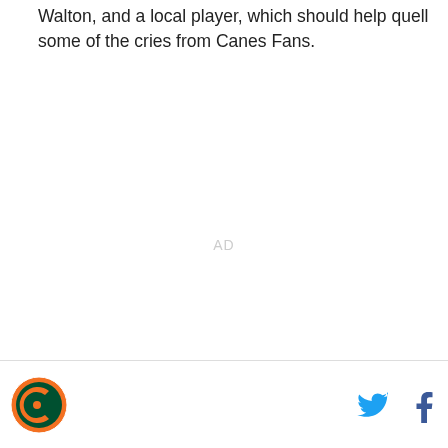Walton, and a local player, which should help quell some of the cries from Canes Fans.
[Figure (other): AD placeholder area in center of page]
Logo and social media icons (Twitter, Facebook)